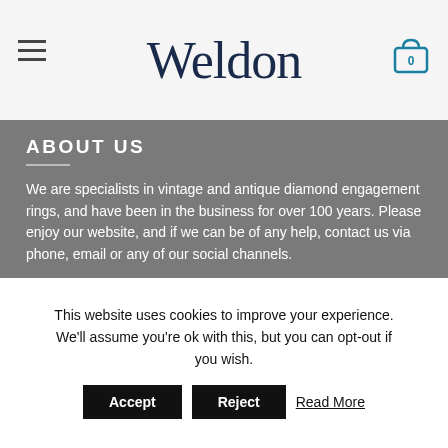Weldon
ABOUT US
We are specialists in vintage and antique diamond engagement rings, and have been in the business for over 100 years. Please enjoy our website, and if we can be of any help, contact us via phone, email or any of our social channels.
[Figure (infographic): Row of 6 circular social media/contact icons: Facebook, Instagram, TikTok, Twitter/X, Email, Phone]
LATEST NEWS
This website uses cookies to improve your experience. We'll assume you're ok with this, but you can opt-out if you wish. Accept Reject Read More